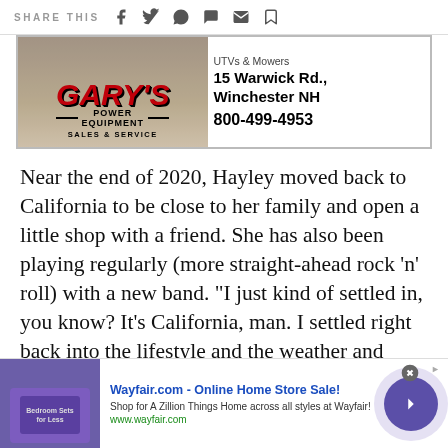SHARE THIS
[Figure (screenshot): Gary's Power Equipment advertisement: UTVs & Mowers, 15 Warwick Rd., Winchester NH, 800-499-4953, Sales & Service]
Near the end of 2020, Hayley moved back to California to be close to her family and open a little shop with a friend. She has also been playing regularly (more straight-ahead rock ‘n’ roll) with a new band. “I just kind of settled in, you know? It’s California, man. I settled right back into the lifestyle and the weather and
[Figure (screenshot): Wayfair.com advertisement: Online Home Store Sale! Shop for A Zillion Things Home across all styles at Wayfair! www.wayfair.com]